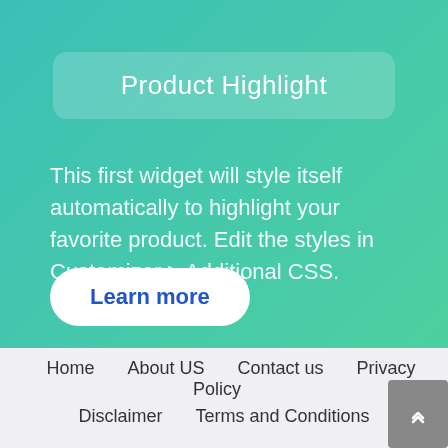Product Highlight
This first widget will style itself automatically to highlight your favorite product. Edit the styles in Customizer > Additional CSS.
Learn more
Home   About US   Contact us   Privacy Policy   Disclaimer   Terms and Conditions